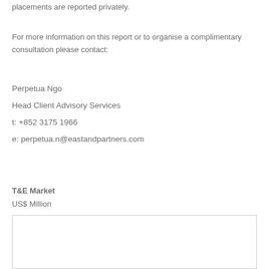placements are reported privately.
For more information on this report or to organise a complimentary consultation please contact:
Perpetua Ngo
Head Client Advisory Services
t: +852 3175 1966
e: perpetua.n@eastandpartners.com
T&E Market
US$ Million
[Figure (other): Broken image placeholder for T&E Market chart in US$ Million]